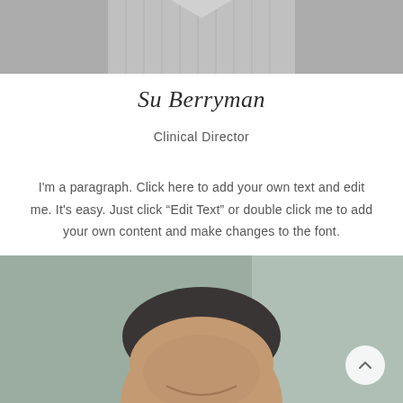[Figure (photo): Cropped photo of a person wearing a grey V-neck knit sweater, only lower neck and torso visible]
Su Berryman
Clinical Director
I'm a paragraph. Click here to add your own text and edit me. It's easy. Just click “Edit Text” or double click me to add your own content and make changes to the font.
[Figure (photo): Portrait photo of a middle-aged man with dark grey hair, smiling, with a blurred background]